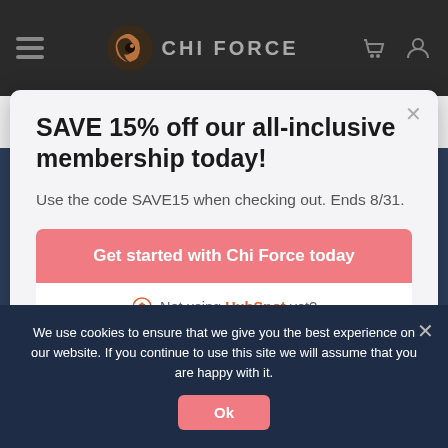CHI FORCE — navigation bar with hamburger menu, logo, cart and user icons
[Figure (screenshot): Background website content showing a user profile row with avatar, name 'Frances/Helps' and 'Active 33 minutes ago']
SAVE 15% off our all-inclusive membership today!
Use the code SAVE15 when checking out. Ends 8/31.
Get started with Chi Force today
Not using HubSpot yet?
We use cookies to ensure that we give you the best experience on our website. If you continue to use this site we will assume that you are happy with it.